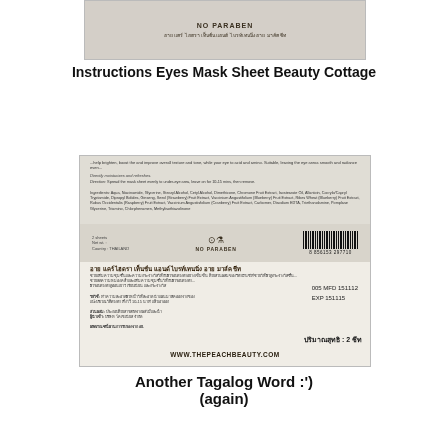[Figure (photo): Close-up of Beauty Cottage Eyes Mask Sheet product label showing NO PARABEN text and Thai language text]
Instructions Eyes Mask Sheet Beauty Cottage
[Figure (photo): Full product label of Beauty Cottage Eyes Mask Sheet showing ingredients, NO PARABEN logo, barcode 8856153297710, MFD 151112, EXP 151115, and website www.thepeachbeauty.com]
Another Tagalog Word :') (again)